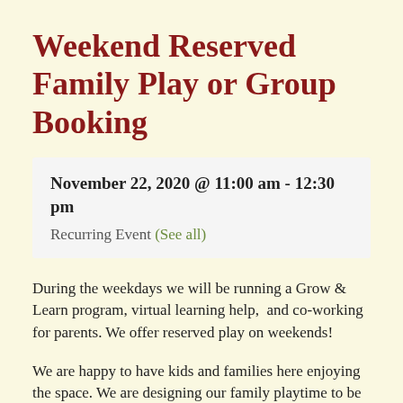Weekend Reserved Family Play or Group Booking
November 22, 2020 @ 11:00 am - 12:30 pm
Recurring Event (See all)
During the weekdays we will be running a Grow & Learn program, virtual learning help,  and co-working for parents. We offer reserved play on weekends!
We are happy to have kids and families here enjoying the space. We are designing our family playtime to be a fun and safe experience.